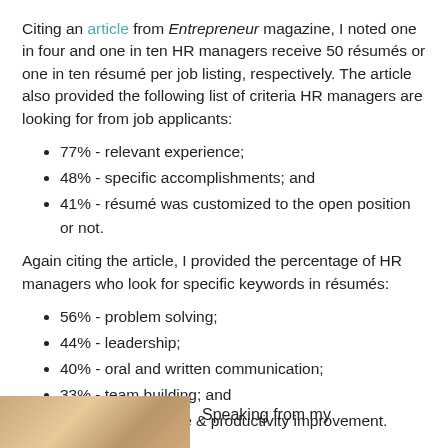Citing an article from Entrepreneur magazine, I noted one in four and one in ten HR managers receive 50 résumés or one in ten résumé per job listing, respectively. The article also provided the following list of criteria HR managers are looking for from job applicants:
77% - relevant experience;
48% - specific accomplishments; and
41% - résumé was customized to the open position or not.
Again citing the article, I provided the percentage of HR managers who look for specific keywords in résumés:
56% - problem solving;
44% - leadership;
40% - oral and written communication;
33% - team building; and
31% - performance & productivity improvement.
[Figure (photo): Partial photo visible at bottom left of page]
Speaking from my